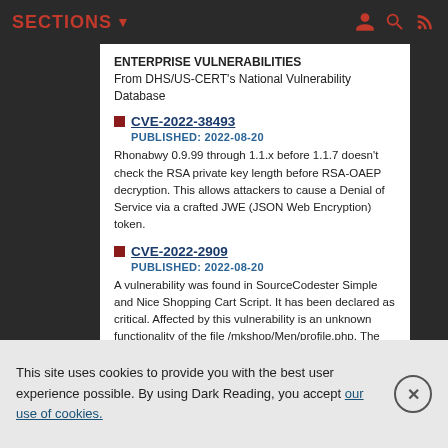SECTIONS
ENTERPRISE VULNERABILITIES
From DHS/US-CERT's National Vulnerability Database
CVE-2022-38493
PUBLISHED: 2022-08-20
Rhonabwy 0.9.99 through 1.1.x before 1.1.7 doesn't check the RSA private key length before RSA-OAEP decryption. This allows attackers to cause a Denial of Service via a crafted JWE (JSON Web Encryption) token.
CVE-2022-2909
PUBLISHED: 2022-08-20
A vulnerability was found in SourceCodester Simple and Nice Shopping Cart Script. It has been declared as critical. Affected by this vulnerability is an unknown functionality of the file /mkshop/Men/profile.php. The manipulation leads to unrestricted upload. The attack can be launched remotely. The
This site uses cookies to provide you with the best user experience possible. By using Dark Reading, you accept our use of cookies.